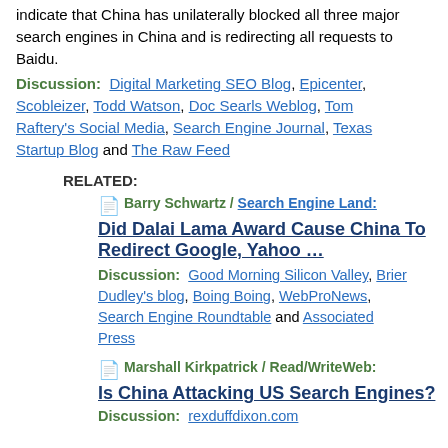indicate that China has unilaterally blocked all three major search engines in China and is redirecting all requests to Baidu.
Discussion:  Digital Marketing SEO Blog, Epicenter, Scobleizer, Todd Watson, Doc Searls Weblog, Tom Raftery's Social Media, Search Engine Journal, Texas Startup Blog and The Raw Feed
RELATED:
Barry Schwartz / Search Engine Land:
Did Dalai Lama Award Cause China To Redirect Google, Yahoo …
Discussion:  Good Morning Silicon Valley, Brier Dudley's blog, Boing Boing, WebProNews, Search Engine Roundtable and Associated Press
Marshall Kirkpatrick / Read/WriteWeb:
Is China Attacking US Search Engines?
Discussion:  rexduffdixon.com